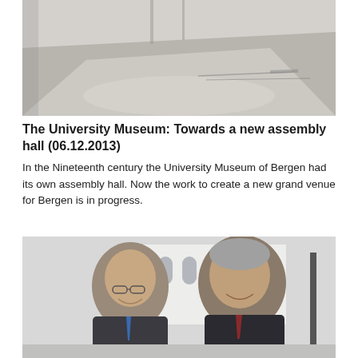[Figure (photo): Interior photo of a large empty hall or room under construction/renovation, showing a bare concrete or polished floor with scattered materials, viewed from above at an angle.]
The University Museum: Towards a new assembly hall (06.12.2013)
In the Nineteenth century the University Museum of Bergen had its own assembly hall. Now the work to create a new grand venue for Bergen is in progress.
[Figure (photo): Photo of two men in suits smiling and standing outdoors in front of a white building. The man on the left wears glasses and a blue tie; the man on the right has grey hair and wears a dark suit with a striped tie.]